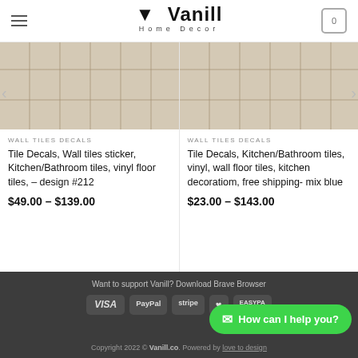Vanill Home Decor — navigation header with cart
[Figure (photo): Tile decal product image 1 — beige stone tile pattern]
WALL TILES DECALS
Tile Decals, Wall tiles sticker, Kitchen/Bathroom tiles, vinyl floor tiles, – design #212
$49.00 – $139.00
[Figure (photo): Tile decal product image 2 — beige stone tile pattern]
WALL TILES DECALS
Tile Decals, Kitchen/Bathroom tiles, vinyl, wall floor tiles, kitchen decoratiom, free shipping- mix blue
$23.00 – $143.00
Want to support Vanill? Download Brave Browser | VISA PayPal [payment icons] | Copyright 2022 © Vanill.co. Powered by love to design